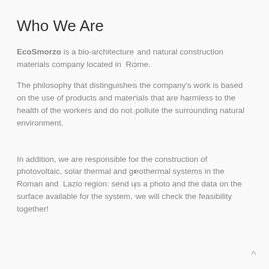Who We Are
EcoSmorzo is a bio-architecture and natural construction materials company located in Rome.
The philosophy that distinguishes the company's work is based on the use of products and materials that are harmless to the health of the workers and do not pollute the surrounding natural environment.
In addition, we are responsible for the construction of photovoltaic, solar thermal and geothermal systems in the Roman and Lazio region: send us a photo and the data on the surface available for the system, we will check the feasibility together!